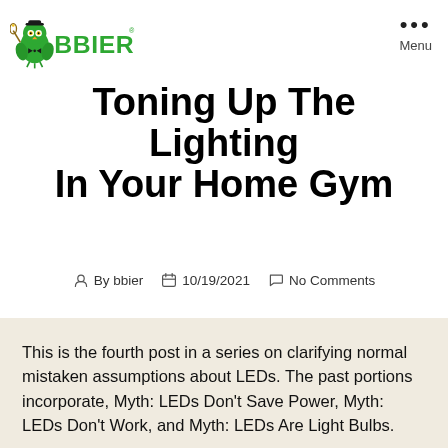BBIER® — Menu
Toning Up The Lighting In Your Home Gym
By bbier   10/19/2021   No Comments
This is the fourth post in a series on clarifying normal mistaken assumptions about LEDs. The past portions incorporate, Myth: LEDs Don't Save Power, Myth: LEDs Don't Work, and Myth: LEDs Are Light Bulbs.